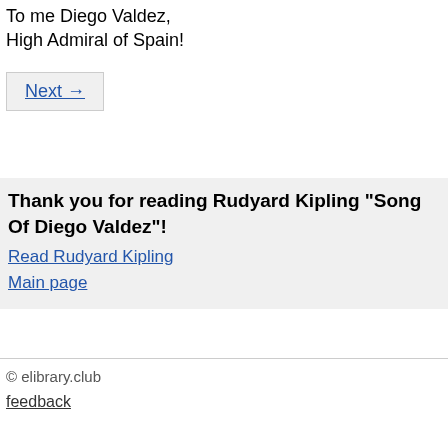To me Diego Valdez,
High Admiral of Spain!
Next →
Thank you for reading Rudyard Kipling "Song Of Diego Valdez"!
Read Rudyard Kipling
Main page
© elibrary.club
feedback